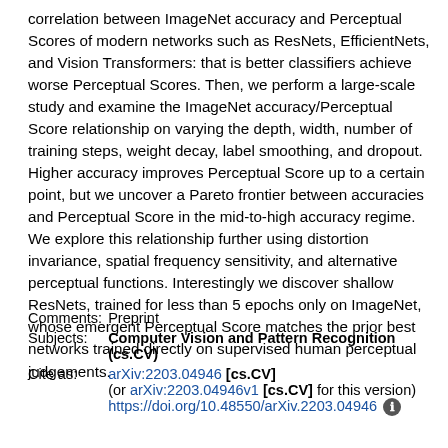correlation between ImageNet accuracy and Perceptual Scores of modern networks such as ResNets, EfficientNets, and Vision Transformers: that is better classifiers achieve worse Perceptual Scores. Then, we perform a large-scale study and examine the ImageNet accuracy/Perceptual Score relationship on varying the depth, width, number of training steps, weight decay, label smoothing, and dropout. Higher accuracy improves Perceptual Score up to a certain point, but we uncover a Pareto frontier between accuracies and Perceptual Score in the mid-to-high accuracy regime. We explore this relationship further using distortion invariance, spatial frequency sensitivity, and alternative perceptual functions. Interestingly we discover shallow ResNets, trained for less than 5 epochs only on ImageNet, whose emergent Perceptual Score matches the prior best networks trained directly on supervised human perceptual judgements.
| Field | Value |
| --- | --- |
| Comments: | Preprint |
| Subjects: | Computer Vision and Pattern Recognition (cs.CV) |
| Cite as: | arXiv:2203.04946 [cs.CV]
(or arXiv:2203.04946v1 [cs.CV] for this version)
https://doi.org/10.48550/arXiv.2203.04946 |